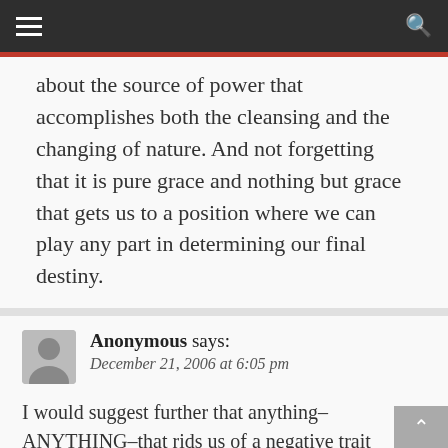☰  🔍
about the source of power that accomplishes both the cleansing and the changing of nature. And not forgetting that it is pure grace and nothing but grace that gets us to a position where we can play any part in determining our final destiny.
Reply
Anonymous says: December 21, 2006 at 6:05 pm
I would suggest further that anything–ANYTHING–that rids us of a negative trait constitutes a form of repentance. Shoveling the snow can help us develop humility and